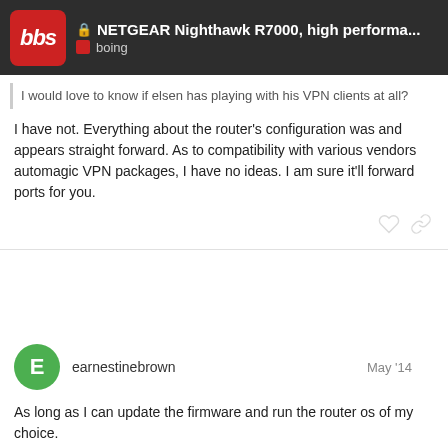NETGEAR Nighthawk R7000, high performa... | boing
I would love to know ifelsen has playing with his VPN clients at all?
I have not. Everything about the router's configuration was and appears straight forward. As to compatibility with various vendors automagic VPN packages, I have no ideas. I am sure it'll forward ports for you.
earnestinebrown May '14
As long as I can update the firmware and run the router os of my choice.